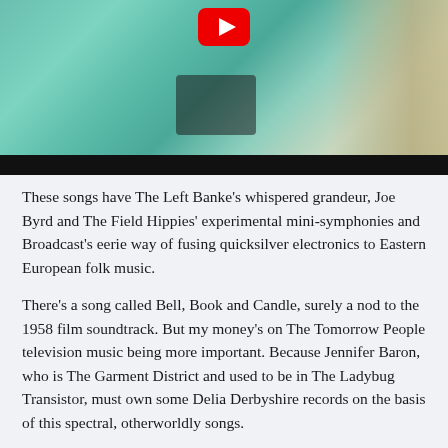[Figure (screenshot): Video thumbnail showing a teal/green-tinted indoor scene with a YouTube play button overlay, followed by a black bar at the bottom representing a video player.]
These songs have The Left Banke's whispered grandeur, Joe Byrd and The Field Hippies' experimental mini-symphonies and Broadcast's eerie way of fusing quicksilver electronics to Eastern European folk music.
There's a song called Bell, Book and Candle, surely a nod to the 1958 film soundtrack. But my money's on The Tomorrow People television music being more important. Because Jennifer Baron, who is The Garment District and used to be in The Ladybug Transistor, must own some Delia Derbyshire records on the basis of this spectral, otherworldly songs.
Vocals feature on only 3 of these songs. It's all about the atmos. Baron doesn't sing on any of these. If you want to hear her vocals,